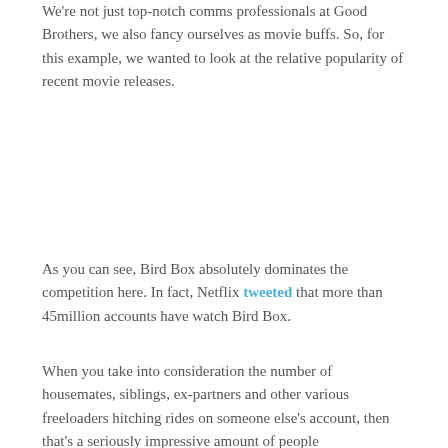We're not just top-notch comms professionals at Good Brothers, we also fancy ourselves as movie buffs. So, for this example, we wanted to look at the relative popularity of recent movie releases.
As you can see, Bird Box absolutely dominates the competition here. In fact, Netflix tweeted that more than 45million accounts have watch Bird Box.
When you take into consideration the number of housemates, siblings, ex-partners and other various freeloaders hitching rides on someone else's account, then that's a seriously impressive amount of people